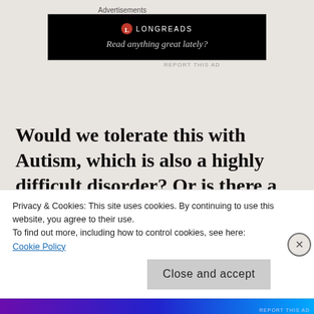Advertisements
[Figure (screenshot): Longreads advertisement banner: black background with Longreads logo and tagline 'Read anything great lately?']
Would we tolerate this with Autism, which is also a highly difficult disorder? Or is there a push for education and awareness? People who have bipolar disorder severely enough can qualify for disability because it can be impossible to hold a job, so it's something the world should know more about.
Privacy & Cookies: This site uses cookies. By continuing to use this website, you agree to their use.
To find out more, including how to control cookies, see here:
Cookie Policy
Close and accept